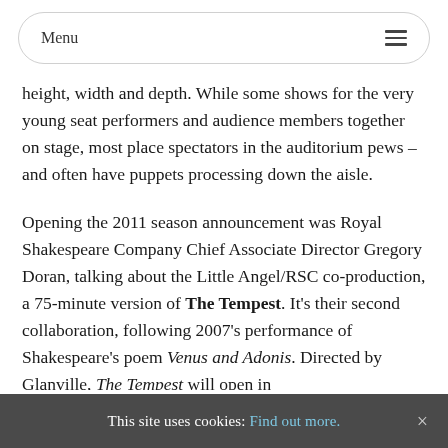Menu
height, width and depth. While some shows for the very young seat performers and audience members together on stage, most place spectators in the auditorium pews – and often have puppets processing down the aisle.
Opening the 2011 season announcement was Royal Shakespeare Company Chief Associate Director Gregory Doran, talking about the Little Angel/RSC co-production, a 75-minute version of The Tempest. It's their second collaboration, following 2007's performance of Shakespeare's poem Venus and Adonis. Directed by Glanville, The Tempest will open in
This site uses cookies: Find out more. ×